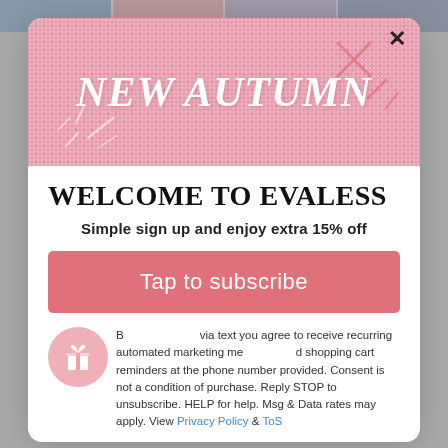[Figure (illustration): Pink textured banner with italic bold white text reading NEW AUTUMN, with decorative doodle marks]
WELCOME TO EVALESS
Simple sign up and enjoy extra 15% off
Tap to subscribe
By subscribing via text you agree to receive recurring automated marketing messages and shopping cart reminders at the phone number provided. Consent is not a condition of purchase. Reply STOP to unsubscribe. HELP for help. Msg & Data rates may apply. View Privacy Policy & ToS